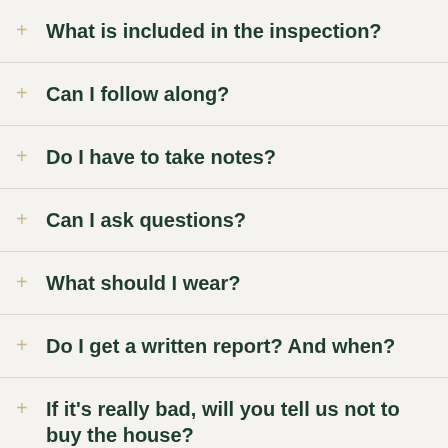+ What is included in the inspection?
+ Can I follow along?
+ Do I have to take notes?
+ Can I ask questions?
+ What should I wear?
+ Do I get a written report? And when?
+ If it's really bad, will you tell us not to buy the house?